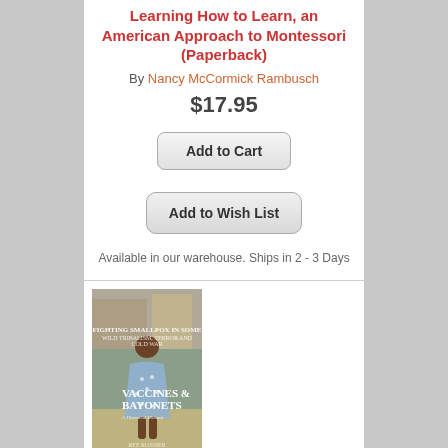Learning How to Learn, an American Approach to Montessori (Paperback)
By Nancy McCormick Rambusch
$17.95
Add to Cart
Add to Wish List
Available in our warehouse. Ships in 2 - 3 Days
[Figure (photo): Book cover of Vaccines and Bayonets showing a child viewed from behind in a patterned dress]
Vaccines and Bayonets: